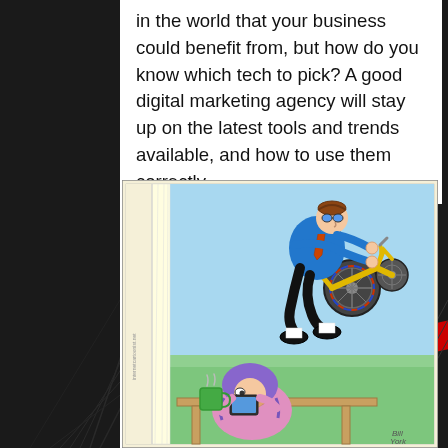in the world that your business could benefit from, but how do you know which tech to pick? A good digital marketing agency will stay up on the latest tools and trends available, and how to use them correctly.
[Figure (illustration): Cartoon showing a person riding a chopper-style bicycle flying through the air out of a window, while another person (with purple hair) sits at a desk below looking at a phone/tablet, with a green mug on the desk.]